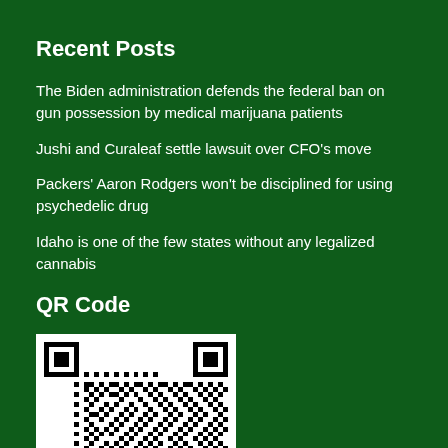Recent Posts
The Biden administration defends the federal ban on gun possession by medical marijuana patients
Jushi and Curaleaf settle lawsuit over CFO’s move
Packers’ Aaron Rodgers won't be disciplined for using psychedelic drug
Idaho is one of the few states without any legalized cannabis
QR Code
[Figure (other): QR code image in white box]